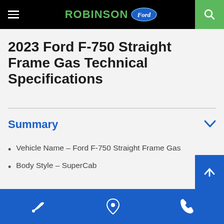ROBINSON Ford
2023 Ford F-750 Straight Frame Gas Technical Specifications
Summary
Vehicle Name – Ford F-750 Straight Frame Gas
Body Style – SuperCab
Transmission
Service | Location | Phone